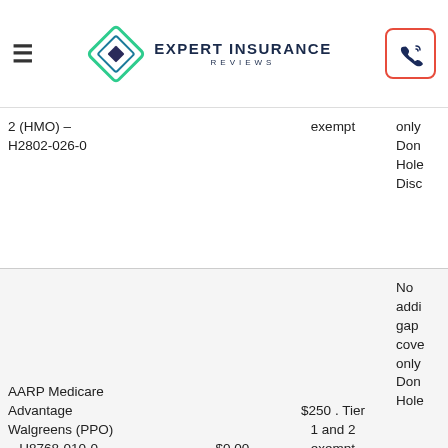Expert Insurance Reviews
| Plan | Premium | Drug Deductible | Gap Coverage |
| --- | --- | --- | --- |
| 2 (HMO) – H2802-026-0 |  | exempt | only Don Hole Disc |
| AARP Medicare Advantage Walgreens (PPO) – H8768-010-0 | $0.00 | $250 . Tier 1 and 2 exempt | No addi gap cove only Don Hole |